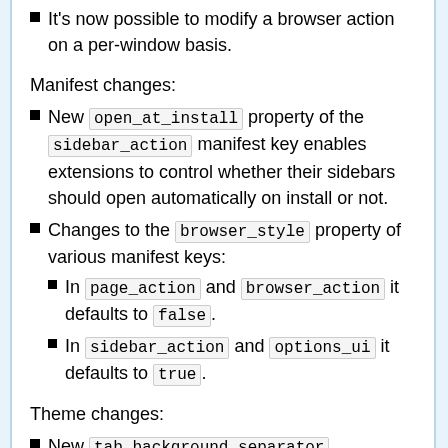It's now possible to modify a browser action on a per-window basis.
Manifest changes:
New open_at_install property of the sidebar_action manifest key enables extensions to control whether their sidebars should open automatically on install or not.
Changes to the browser_style property of various manifest keys:
In page_action and browser_action it defaults to false.
In sidebar_action and options_ui it defaults to true.
Theme changes:
New tab_background_separator